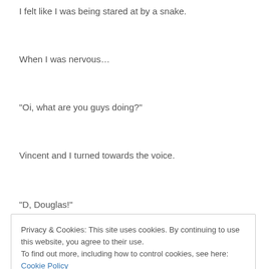I felt like I was being stared at by a snake.
When I was nervous…
“Oi, what are you guys doing?”
Vincent and I turned towards the voice.
“D, Douglas!”
Privacy & Cookies: This site uses cookies. By continuing to use this website, you agree to their use.
To find out more, including how to control cookies, see here: Cookie Policy
Close and accept